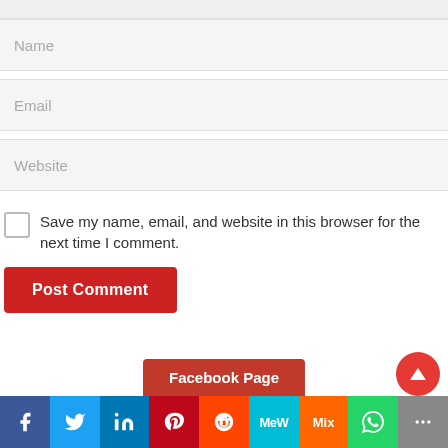Name
Email
Website
Save my name, email, and website in this browser for the next time I comment.
Post Comment
Facebook Page
f  Twitter  in  Pinterest  Reddit  MeWe  Mix  WhatsApp  More